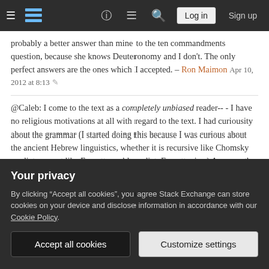[Figure (screenshot): Stack Exchange navigation bar with hamburger menu, logo, question mark icon, chat icon, search icon, Log in button, and Sign up link on dark background]
probably a better answer than mine to the ten commandments question, because she knows Deuteronomy and I don't. The only perfect answers are the ones which I accepted. – Ron Maimon Apr 10, 2012 at 8:13 ✎
@Caleb: I come to the text as a completely unbiased reader-- - I have no religious motivations at all with regard to the text. I had curiousity about the grammar (I started doing this because I was curious about the ancient Hebrew linguistics, whether it is recursive like Chomsky predicts, or not like Everett would predict. Everett wins.) Anyway, the presuppositions are only that Hebrew grammar is the thing I "feel" when I read the text (which I feel is 99.9% grammatical), and that any remaining grammatical
Your privacy
By clicking "Accept all cookies", you agree Stack Exchange can store cookies on your device and disclose information in accordance with our Cookie Policy.
have presuppositions – and doesn't make you any different to anyone else here. I don't reject your answers because I don't